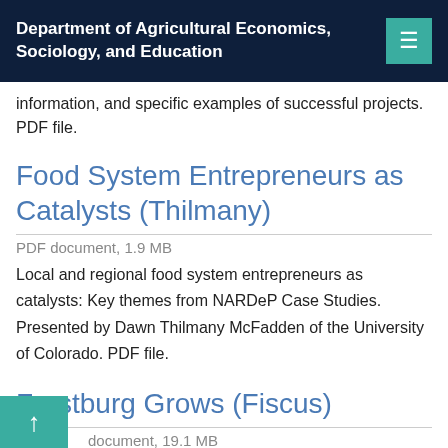Department of Agricultural Economics, Sociology, and Education
information, and specific examples of successful projects. PDF file.
Food System Entrepreneurs as Catalysts (Thilmany)
PDF document, 1.9 MB
Local and regional food system entrepreneurs as catalysts: Key themes from NARDeP Case Studies. Presented by Dawn Thilmany McFadden of the University of Colorado. PDF file.
Frostburg Grows (Fiscus)
document, 19.1 MB
The Western Maryland Resource Conservation and